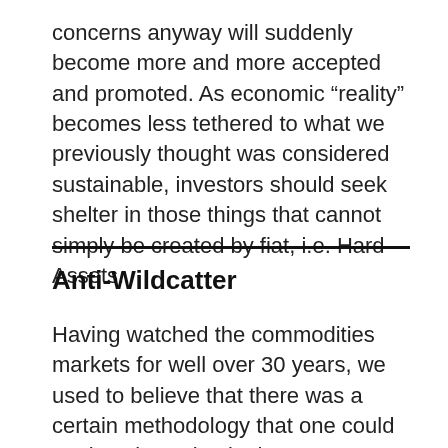concerns anyway will suddenly become more and more accepted and promoted. As economic “reality” becomes less tethered to what we previously thought was considered sustainable, investors should seek shelter in those things that cannot simply be created by fiat, i.e. Hard Assets.
Anti-Wildcatter
Having watched the commodities markets for well over 30 years, we used to believe that there was a certain methodology that one could apply to investing in these sectors based on shifts in industry capacity. In brief, when price rose, this would send signals to the market to add capacity, which inevitably would lead to over capacity and to